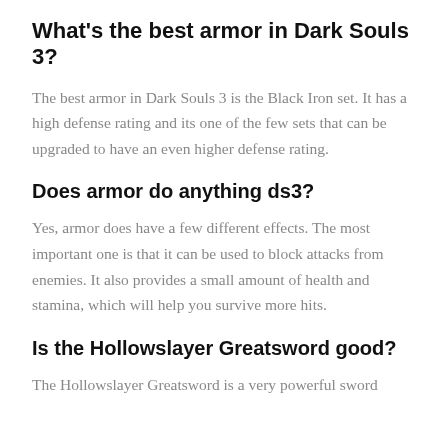What's the best armor in Dark Souls 3?
The best armor in Dark Souls 3 is the Black Iron set. It has a high defense rating and its one of the few sets that can be upgraded to have an even higher defense rating.
Does armor do anything ds3?
Yes, armor does have a few different effects. The most important one is that it can be used to block attacks from enemies. It also provides a small amount of health and stamina, which will help you survive more hits.
Is the Hollowslayer Greatsword good?
The Hollowslayer Greatsword is a very powerful sword